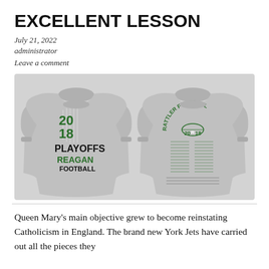EXCELLENT LESSON
July 21, 2022
administrator
Leave a comment
[Figure (photo): Two views of a gray long-sleeve shirt. Front shows '2018 PLAYOFFS REAGAN FOOTBALL' with American flag graphic. Back shows 'RATTLER FOOTBALL 2018' with roster list.]
Queen Mary's main objective grew to become reinstating Catholicism in England. The brand new York Jets have carried out all the pieces they